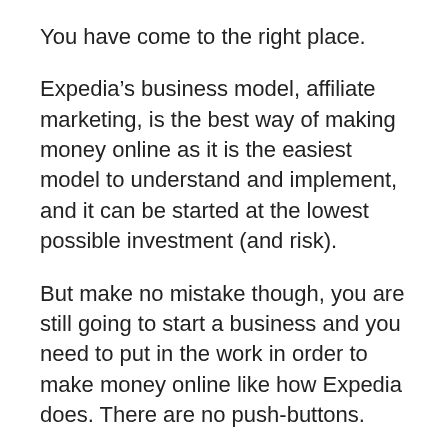You have come to the right place.
Expedia’s business model, affiliate marketing, is the best way of making money online as it is the easiest model to understand and implement, and it can be started at the lowest possible investment (and risk).
But make no mistake though, you are still going to start a business and you need to put in the work in order to make money online like how Expedia does. There are no push-buttons.
And if you are interested in learning affiliate marketing, step-by-step, then my